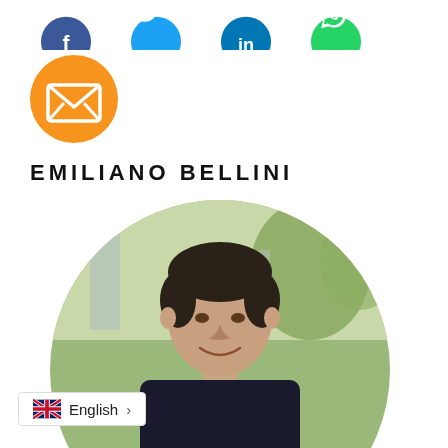[Figure (infographic): Row of social media icon circles at top: Facebook (dark blue), Twitter (light blue), LinkedIn (dark blue), WhatsApp (green). Below them, a single orange email/envelope icon circle.]
EMILIANO BELLINI
[Figure (photo): Portrait photo of Emiliano Bellini, a middle-aged man with short dark hair, smiling, shown in a circular crop with a blurred outdoor urban background.]
English >